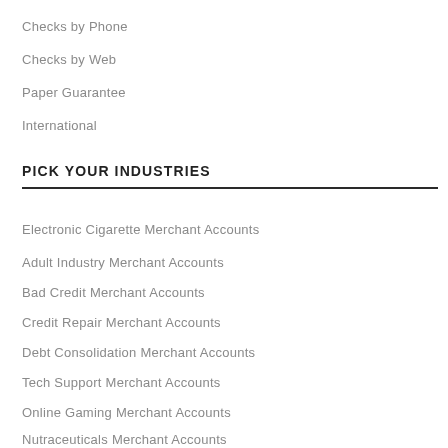Checks by Phone
Checks by Web
Paper Guarantee
International
PICK YOUR INDUSTRIES
Electronic Cigarette Merchant Accounts
Adult Industry Merchant Accounts
Bad Credit Merchant Accounts
Credit Repair Merchant Accounts
Debt Consolidation Merchant Accounts
Tech Support Merchant Accounts
Online Gaming Merchant Accounts
Nutraceuticals Merchant Accounts